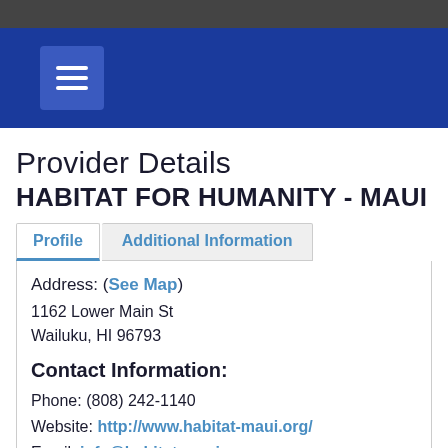Provider Details
HABITAT FOR HUMANITY - MAUI
Profile | Additional Information
Address: (See Map)
1162 Lower Main St
Wailuku, HI 96793
Contact Information:
Phone: (808) 242-1140
Website: http://www.habitat-maui.org/
Email: info@habitat-maui.org